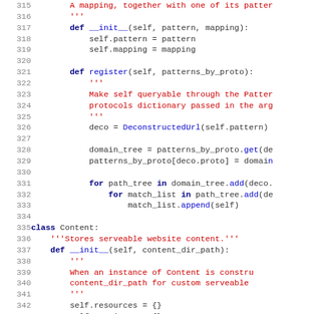Python source code lines 315-344 showing class definitions with __init__ and register methods, docstrings, and class Content definition